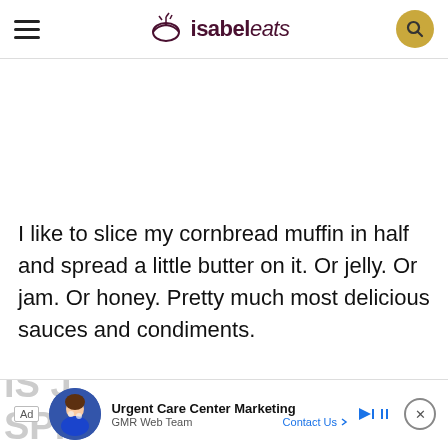isabel eats
I like to slice my cornbread muffin in half and spread a little butter on it. Or jelly. Or jam. Or honey. Pretty much most delicious sauces and condiments.
[Figure (infographic): Advertisement bar at bottom: Ad label, avatar photo of woman, Urgent Care Center Marketing, GMR Web Team, Contact Us link, close button]
IS J... SPI...